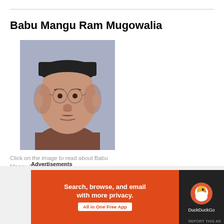Babu Mangu Ram Mugowalia
[Figure (photo): Portrait painting of Babu Mangu Ram Mugowalia, an elderly man wearing glasses and a dark cap, painted against a light purple/blue background]
Click on the image to read about Babu Mangu Ram Mugowalia
Advertisements
[Figure (screenshot): DuckDuckGo advertisement banner with orange background saying 'Search, browse, and email with more privacy. All in One Free App' with DuckDuckGo logo on dark background on the right side]